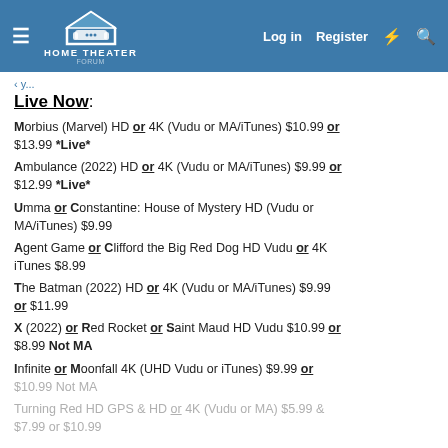Home Theater Forum — Log in | Register
Live Now:
Morbius (Marvel) HD or 4K (Vudu or MA/iTunes) $10.99 or $13.99 *Live*
Ambulance (2022) HD or 4K (Vudu or MA/iTunes) $9.99 or $12.99 *Live*
Umma or Constantine: House of Mystery HD (Vudu or MA/iTunes) $9.99
Agent Game or Clifford the Big Red Dog HD Vudu or 4K iTunes $8.99
The Batman (2022) HD or 4K (Vudu or MA/iTunes) $9.99 or $11.99
X (2022) or Red Rocket or Saint Maud HD Vudu $10.99 or $8.99 Not MA
Infinite or Moonfall 4K (UHD Vudu or iTunes) $9.99 or $10.99 Not MA
Turning Red HD GPS & HD or 4K (Vudu or MA) $5.99 & $7.99 or $10.99